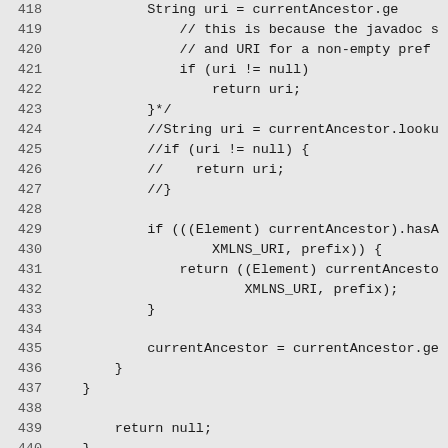Code listing lines 418-447: Java source code snippet showing namespace URI lookup and SOAPElement setElementQName method implementation